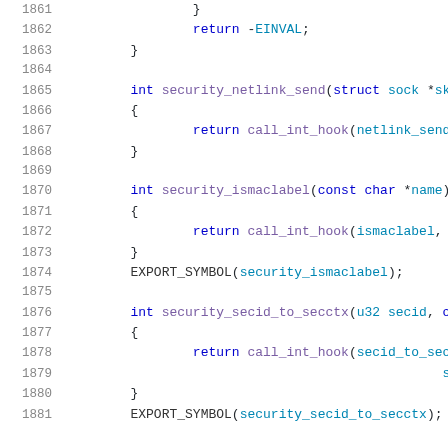[Figure (screenshot): Source code listing showing C function definitions for Linux kernel security hooks, lines 1861-1881, with syntax highlighting: line numbers in grey, keywords in blue, identifiers in teal/cyan, on white background.]